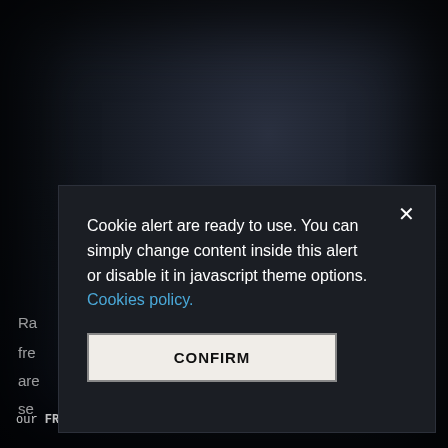[Figure (screenshot): Dark-themed webpage background with a cookie consent modal dialog overlaid in the center-bottom area. The modal has white text describing cookie alert options, a blue hyperlink 'Cookies policy.', an X close button, and a CONFIRM button. Behind the modal, partial white text fragments are visible ('Ra', 'fre', 'are', 'se', 'our FREE resources an...at...vs...'). The overall background is very dark blue-black with edge vignetting.]
Cookie alert are ready to use. You can simply change content inside this alert or disable it in javascript theme options. Cookies policy.
CONFIRM